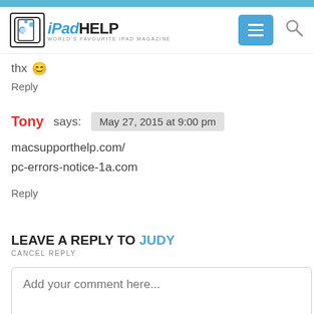iPad HELP - WORLD'S FAVOURITE IPAD MAGAZINE
thx 😊
Reply
Tony says: May 27, 2015 at 9:00 pm
macsupporthelp.com/
pc-errors-notice-1a.com
Reply
LEAVE A REPLY TO JUDY
CANCEL REPLY
Add your comment here...